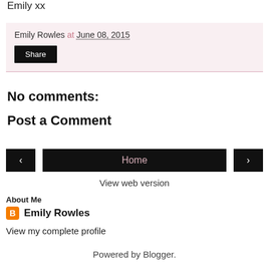Emily xx
Emily Rowles at June 08, 2015
Share
No comments:
Post a Comment
< Home >
View web version
About Me
Emily Rowles
View my complete profile
Powered by Blogger.